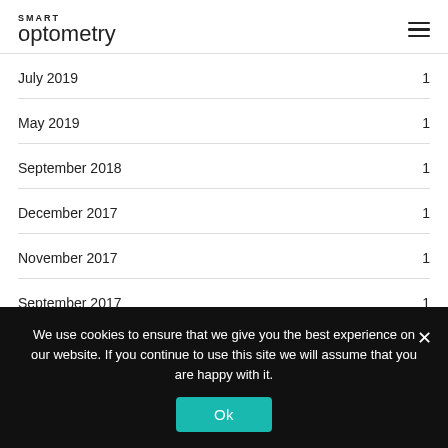SMART optometry
July 2019   1
May 2019   1
September 2018   1
December 2017   1
November 2017   1
September 2017   1
March 2017   4
We use cookies to ensure that we give you the best experience on our website. If you continue to use this site we will assume that you are happy with it.